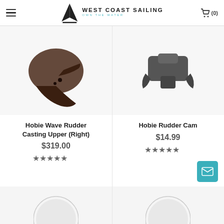West Coast Sailing — Own the Water
[Figure (photo): Partial view of a dark brown Hobie Wave Rudder Casting Upper (Right) product photo, cropped showing bottom portion]
Hobie Wave Rudder Casting Upper (Right)
$319.00
★★★★★
[Figure (photo): Partial view of a dark gray Hobie Rudder Cam product photo, cropped showing bottom portion]
Hobie Rudder Cam
$14.99
★★★★★
[Figure (photo): Partial circular product photo at bottom left, beginning of next product row]
[Figure (photo): Partial circular product photo at bottom right, beginning of next product row]